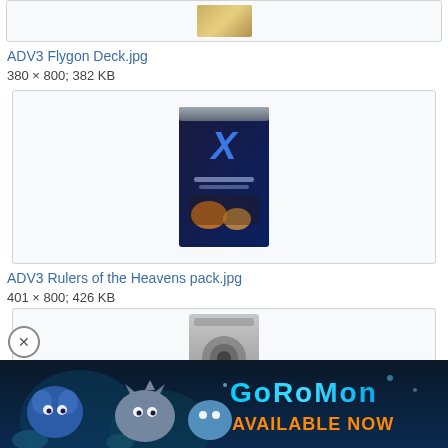[Figure (photo): Partial view of ADV3 Flygon Deck card package image (top portion cut off)]
ADV3 Flygon Deck.jpg
380 × 800; 382 KB
[Figure (photo): ADV3 Rulers of the Heavens pack booster pack image showing Pokemon characters on a dark background]
ADV3 Rulers of the Heavens pack.jpg
401 × 800; 426 KB
[Figure (photo): Partial view of another card pack image, partially obscured by advertisement banner]
[Figure (illustration): Coromon advertisement banner showing colorful monster creatures with text COROMON AVAILABLE NOW]